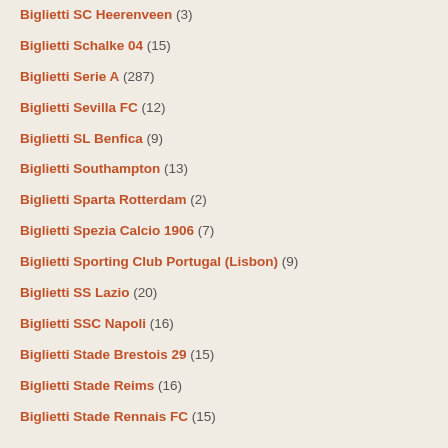Biglietti SC Heerenveen (3)
Biglietti Schalke 04 (15)
Biglietti Serie A (287)
Biglietti Sevilla FC (12)
Biglietti SL Benfica (9)
Biglietti Southampton (13)
Biglietti Sparta Rotterdam (2)
Biglietti Spezia Calcio 1906 (7)
Biglietti Sporting Club Portugal (Lisbon) (9)
Biglietti SS Lazio (20)
Biglietti SSC Napoli (16)
Biglietti Stade Brestois 29 (15)
Biglietti Stade Reims (16)
Biglietti Stade Rennais FC (15)